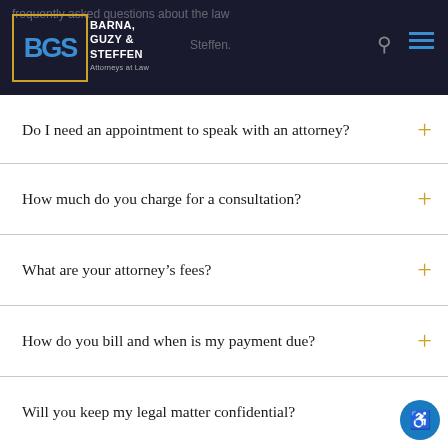[Figure (logo): Barna, Guzy & Steffen Attorneys at Law logo with BGS monogram in blue on dark background with gold border]
frequently asked questions about the law Barna, Guzy & Steffen,
Do I need an appointment to speak with an attorney?
How much do you charge for a consultation?
What are your attorney's fees?
How do you bill and when is my payment due?
Will you keep my legal matter confidential?